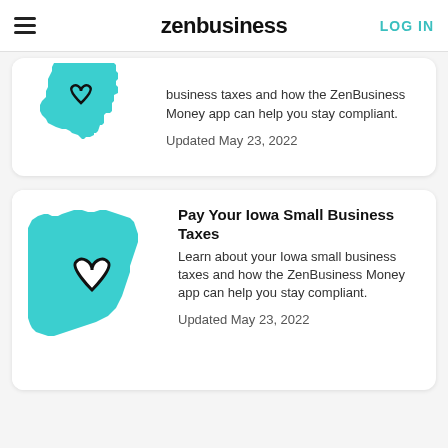zenbusiness | LOG IN
[Figure (illustration): Teal silhouette of Indiana state map with heart outline cutout]
business taxes and how the ZenBusiness Money app can help you stay compliant.

Updated May 23, 2022
[Figure (illustration): Teal silhouette of Iowa state map with heart outline]
Pay Your Iowa Small Business Taxes
Learn about your Iowa small business taxes and how the ZenBusiness Money app can help you stay compliant.

Updated May 23, 2022